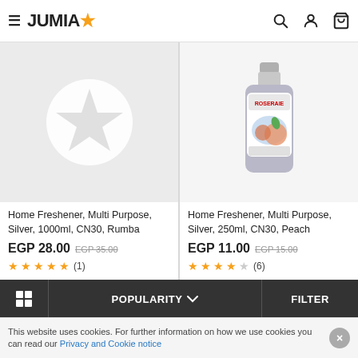JUMIA (logo with star)
[Figure (screenshot): Left product card: placeholder image with Jumia star logo on grey background]
Home Freshener, Multi Purpose, Silver, 1000ml, CN30, Rumba
EGP 28.00  EGP 35.00
★★★★★ (1)
[Figure (photo): Right product card: Roseraie Home Freshener bottle, 250ml, peach scent]
Home Freshener, Multi Purpose, Silver, 250ml, CN30, Peach
EGP 11.00  EGP 15.00
★★★★☆ (6)
POPULARITY ∨  FILTER
This website uses cookies. For further information on how we use cookies you can read our Privacy and Cookie notice